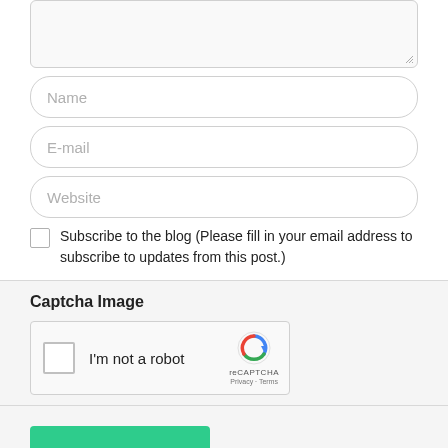[Figure (screenshot): Textarea input field with resize handle at bottom right, partially visible at top of page]
Name
E-mail
Website
Subscribe to the blog (Please fill in your email address to subscribe to updates from this post.)
Captcha Image
[Figure (screenshot): reCAPTCHA widget showing checkbox, 'I'm not a robot' label, reCAPTCHA logo, Privacy and Terms links]